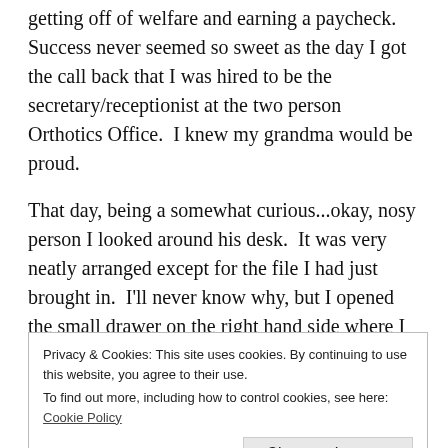getting off of welfare and earning a paycheck.  Success never seemed so sweet as the day I got the call back that I was hired to be the secretary/receptionist at the two person Orthotics Office.  I knew my grandma would be proud.
That day, being a somewhat curious...okay, nosy person I looked around his desk.  It was very neatly arranged except for the file I had just brought in.  I'll never know why, but I opened the small drawer on the right hand side where I assumed pencils and other tools would be kept.  In it was a folded half-sheet of binder paper.  I lifted the paper and unfolded it.
Privacy & Cookies: This site uses cookies. By continuing to use this website, you agree to their use.
To find out more, including how to control cookies, see here: Cookie Policy
Close and accept
The paper...